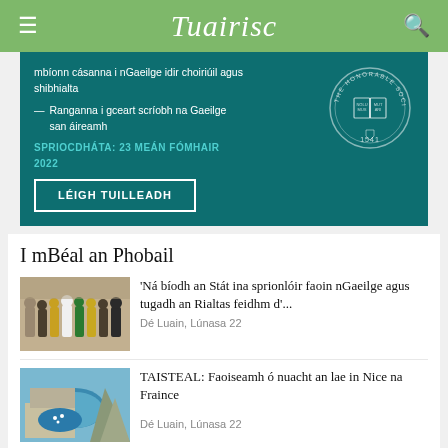Tuairisc
[Figure (other): Advertisement banner for King's Inns with text about Irish language legal courses. Shows text: 'mbíonn cásanna i nGaeilge idir choiriúil agus shibhialta — Ranganna i gceart scríobh na Gaeilge san áireamh SPRIOCDHÁTA: 23 MEÁN FÓMHAIR 2022 LÉIGH TUILLEADH' and the Honorable Society of King's Inns seal (1541)]
I mBéal an Phobail
[Figure (photo): Group photo of people standing in a line outdoors against a stone wall]
'Ná bíodh an Stát ina sprionlóir faoin nGaeilge agus tugadh an Rialtas feidhm d'...
Dé Luain, Lúnasa 22
[Figure (photo): Aerial view of a coastal town, likely Nice, France]
TAISTEAL: Faoiseamh ó nuacht an lae in Nice na Fraince
Dé Luain, Lúnasa 22
[Figure (photo): Portrait photo, partial view of a person]
Ná bac dul chun cinn, ní féidir linn fiú